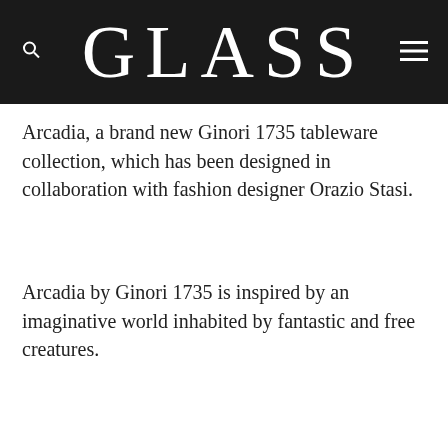GLASS
Arcadia, a brand new Ginori 1735 tableware collection, which has been designed in collaboration with fashion designer Orazio Stasi.
Arcadia by Ginori 1735 is inspired by an imaginative world inhabited by fantastic and free creatures.